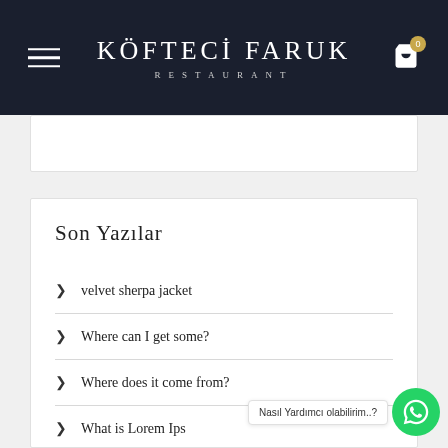KÖFTECİ FARUK Restaurant
Son Yazılar
velvet sherpa jacket
Where can I get some?
Where does it come from?
What is Lorem Ips
Summer Begin!